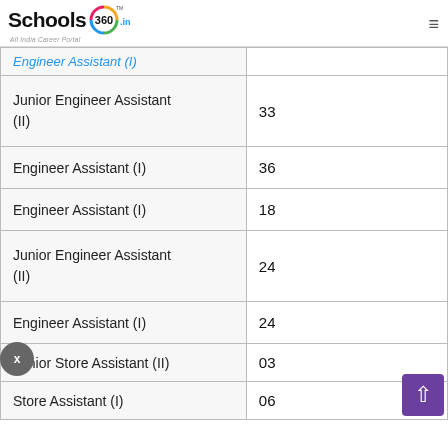Schools 360 .in — All India Career Portal
| Post | Vacancies |
| --- | --- |
| Junior Engineer Assistant (II) | 33 |
| Engineer Assistant (I) | 36 |
| Engineer Assistant (I) | 18 |
| Junior Engineer Assistant (II) | 24 |
| Engineer Assistant (I) | 24 |
| Junior Store Assistant (II) | 03 |
| Store Assistant (I) | 06 |